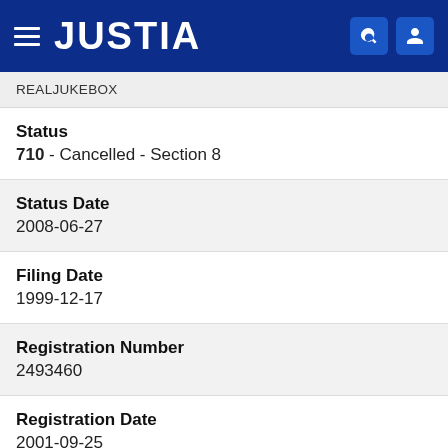JUSTIA
REALJUKEBOX
Status
710 - Cancelled - Section 8
Status Date
2008-06-27
Filing Date
1999-12-17
Registration Number
2493460
Registration Date
2001-09-25
Mark Drawing